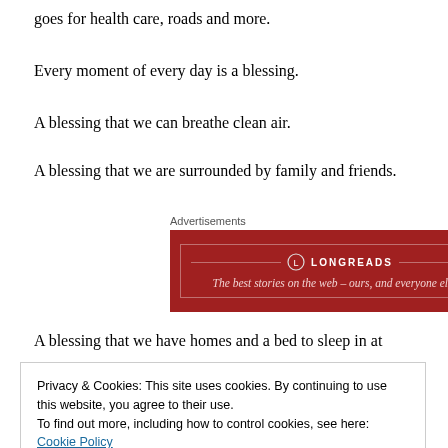goes for health care, roads and more.
Every moment of every day is a blessing.
A blessing that we can breathe clean air.
A blessing that we are surrounded by family and friends.
[Figure (other): Longreads advertisement banner: red background with logo and tagline 'The best stories on the web – ours, and everyone else's.']
A blessing that we have homes and a bed to sleep in at
Privacy & Cookies: This site uses cookies. By continuing to use this website, you agree to their use.
To find out more, including how to control cookies, see here: Cookie Policy
Close and accept